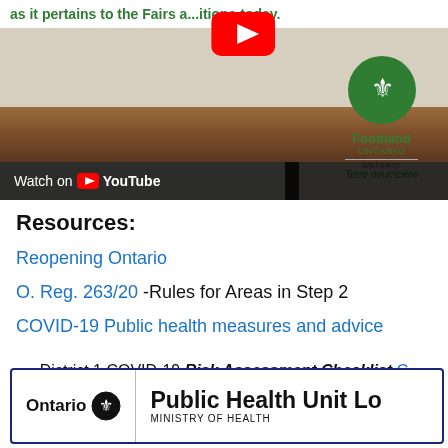[Figure (screenshot): YouTube video thumbnail showing a Foodland Ontario promotional video with text 'as it pertains to the Fairs and exhibitions today.' A YouTube play button is visible, along with the Foodland Ontario logo and 'Ontario Terre nourricière' text. A wooden floor background is visible with a 'Watch on YouTube' bar at the bottom.]
Resources:
Reopening Ontario
O. Reg. 263/20 -Rules for Areas in Step 2
COVID-19 Public health measures and advice
District 1 COVID-19 Risk Assessment Checklist C
[Figure (logo): Ontario Public Health Unit Lo... banner with Ontario trillium logo and 'MINISTRY OF HEALTH' text]